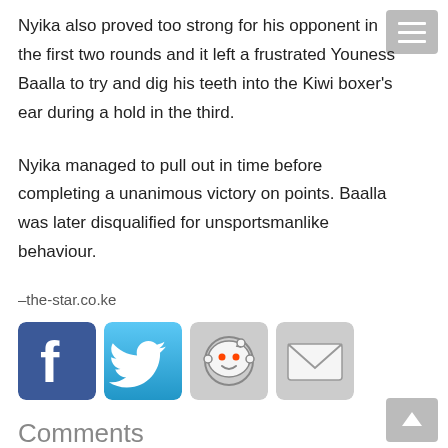Nyika also proved too strong for his opponent in the first two rounds and it left a frustrated Youness Baalla to try and dig his teeth into the Kiwi boxer's ear during a hold in the third.
Nyika managed to pull out in time before completing a unanimous victory on points. Baalla was later disqualified for unsportsmanlike behaviour.
–the-star.co.ke
[Figure (infographic): Social sharing buttons: Facebook, Twitter, Reddit, Email]
Comments